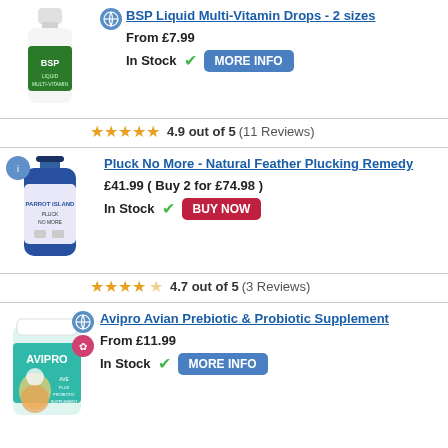[Figure (photo): BSP Liquid Multi-Vitamin Drops bottle - white dropper bottle with green label]
BSP Liquid Multi-Vitamin Drops - 2 sizes
From £7.99
In Stock ✓ MORE INFO
4.9 out of 5 (11 Reviews)
[Figure (photo): Pluck No More Natural Feather Plucking Remedy - blue bottle]
Pluck No More - Natural Feather Plucking Remedy
£41.99 ( Buy 2 for £74.98 )
In Stock ✓ BUY NOW
4.7 out of 5 (3 Reviews)
[Figure (photo): Avipro Avian Prebiotic & Probiotic Supplement container with cockatoo image]
Avipro Avian Prebiotic & Probiotic Supplement
From £11.99
In Stock ✓ MORE INFO